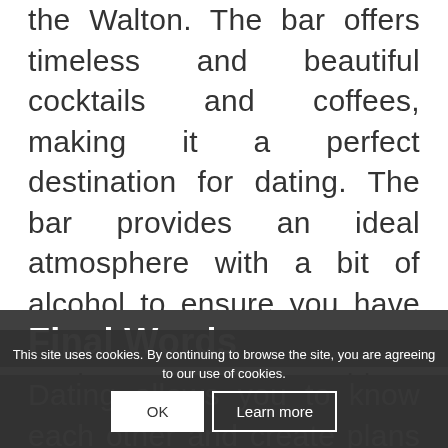the Walton. The bar offers timeless and beautiful cocktails and coffees, making it a perfect destination for dating. The bar provides an ideal atmosphere with a bit of alcohol to ensure you have the best romantic environment and achieve your dating goals.
Final Words
Dating allows you to know each other and create plans for the future. It is a perfect way to
This site uses cookies. By continuing to browse the site, you are agreeing to our use of cookies.